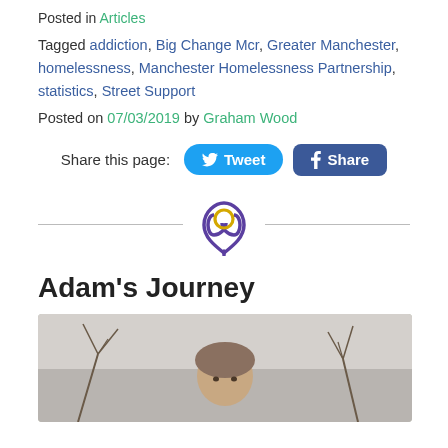Posted in Articles
Tagged addiction, Big Change Mcr, Greater Manchester, homelessness, Manchester Homelessness Partnership, statistics, Street Support
Posted on 07/03/2019 by Graham Wood
[Figure (other): Social share buttons: Tweet (Twitter) and Share (Facebook), with centered logo divider (purple heart/ring logo)]
Adam's Journey
[Figure (photo): Photo of a person outdoors with bare winter trees in background]